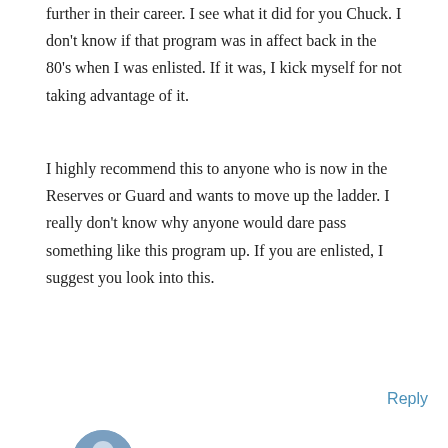further in their career. I see what it did for you Chuck. I don't know if that program was in affect back in the 80's when I was enlisted. If it was, I kick myself for not taking advantage of it.
I highly recommend this to anyone who is now in the Reserves or Guard and wants to move up the ladder. I really don't know why anyone would dare pass something like this program up. If you are enlisted, I suggest you look into this.
Reply
CHUCK HOLMES
JANUARY 27, 2015 AT 20:00
This website uses cookies to improve your experience. We'll assume you're ok with this, but you can opt-out if you wish.